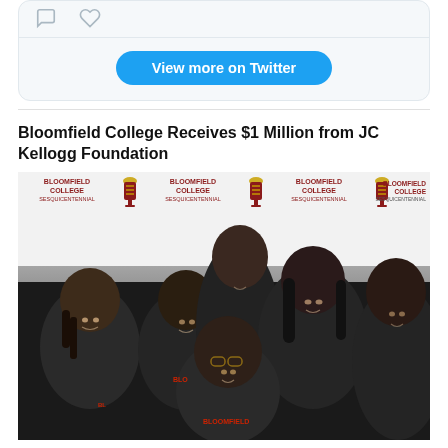[Figure (screenshot): Twitter widget partial view showing two icons (comment, heart) and a blue 'View more on Twitter' button]
Bloomfield College Receives $1 Million from JC Kellogg Foundation
[Figure (photo): Group photo of six smiling students wearing black Bloomfield College t-shirts, posing in front of a Bloomfield College branded step-and-repeat banner with red and gold logos]